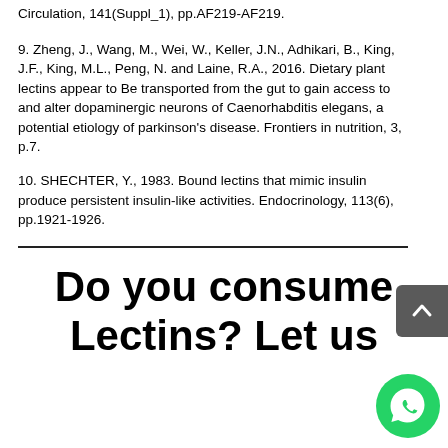Circulation, 141(Suppl_1), pp.AF219-AF219.
9. Zheng, J., Wang, M., Wei, W., Keller, J.N., Adhikari, B., King, J.F., King, M.L., Peng, N. and Laine, R.A., 2016. Dietary plant lectins appear to Be transported from the gut to gain access to and alter dopaminergic neurons of Caenorhabditis elegans, a potential etiology of parkinson's disease. Frontiers in nutrition, 3, p.7.
10. SHECHTER, Y., 1983. Bound lectins that mimic insulin produce persistent insulin-like activities. Endocrinology, 113(6), pp.1921-1926.
Do you consume Lectins? Let us